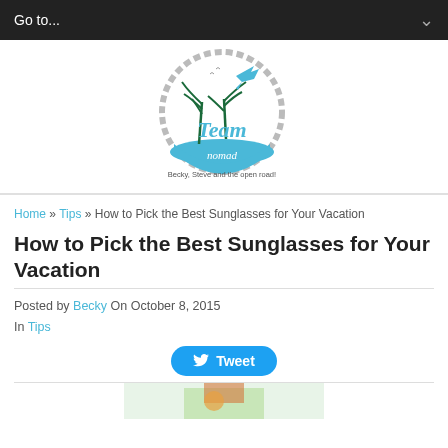Go to...
[Figure (logo): Team Nomad logo: circular rope border with palm tree, airplane, and script text 'Team nomad' with tagline 'Becky, Steve and the open road!']
Home » Tips » How to Pick the Best Sunglasses for Your Vacation
How to Pick the Best Sunglasses for Your Vacation
Posted by Becky On October 8, 2015 In Tips
[Figure (screenshot): Tweet button (blue, rounded) with bird icon and 'Tweet' text]
[Figure (photo): Partial tropical vacation photo visible at bottom of page]